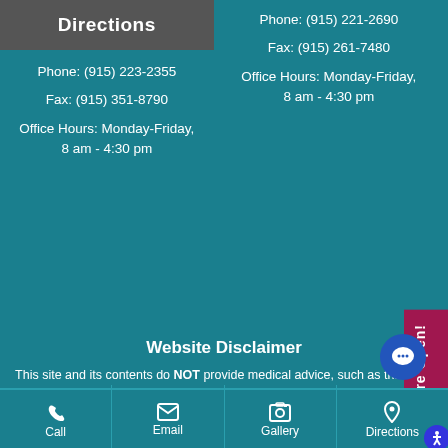Directions
Phone: (915) 223-2355
Fax: (915) 351-8790
Office Hours: Monday-Friday, 8 am - 4:30 pm
Phone: (915) 221-2690
Fax: (915) 261-7480
Office Hours: Monday-Friday, 8 am - 4:30 pm
Website Disclaimer
This site and its contents do NOT provide medical advice, such as that provided through a direct consultation and is not intended to replace it. This material is only educational and informational nature and cannot in any way be used to represent a comp...
Call | Email | Gallery | Directions